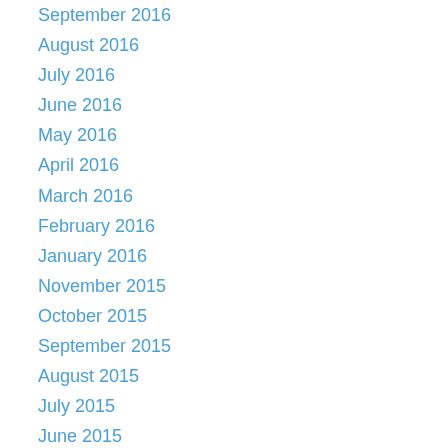September 2016
August 2016
July 2016
June 2016
May 2016
April 2016
March 2016
February 2016
January 2016
November 2015
October 2015
September 2015
August 2015
July 2015
June 2015
May 2015
April 2015
March 2015
February 2015
January 2015